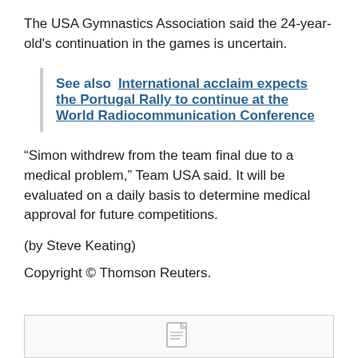The USA Gymnastics Association said the 24-year-old's continuation in the games is uncertain.
See also  International acclaim expects the Portugal Rally to continue at the World Radiocommunication Conference
“Simon withdrew from the team final due to a medical problem,” Team USA said. It will be evaluated on a daily basis to determine medical approval for future competitions.
(by Steve Keating)
Copyright © Thomson Reuters.
[Figure (other): A small document/file icon inside a bordered box at the bottom of the page]